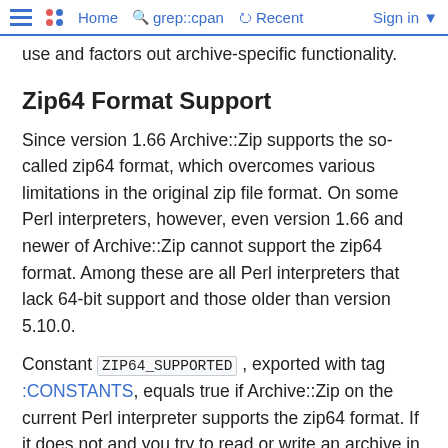Home  grep::cpan  Recent  Sign in
use and factors out archive-specific functionality.
Zip64 Format Support
Since version 1.66 Archive::Zip supports the so-called zip64 format, which overcomes various limitations in the original zip file format. On some Perl interpreters, however, even version 1.66 and newer of Archive::Zip cannot support the zip64 format. Among these are all Perl interpreters that lack 64-bit support and those older than version 5.10.0.
Constant ZIP64_SUPPORTED , exported with tag :CONSTANTS, equals true if Archive::Zip on the current Perl interpreter supports the zip64 format. If it does not and you try to read or write an archive in zip64 format, anyway, Archive::Zip returns an error AZ_ERROR and reports an error message along the